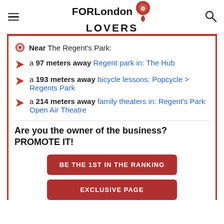FOR London LOVERS
Near The Regent's Park:
a 97 meters away Regent park in: The Hub
a 193 meters away bicycle lessons: Popcycle > Regents Park
a 214 meters away family theaters in: Regent's Park Open Air Theatre
Are you the owner of the business? PROMOTE IT!
BE THE 1ST IN THE RANKING
EXCLUSIVE PAGE